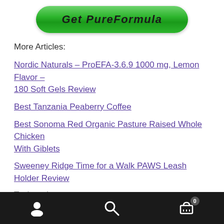[Figure (logo): Green rounded button/logo with italic bold text 'Get PureFormula']
More Articles:
Nordic Naturals – ProEFA-3.6.9 1000 mg, Lemon Flavor – 180 Soft Gels Review
Best Tanzania Peaberry Coffee
Best Sonoma Red Organic Pasture Raised Whole Chicken With Giblets
Sweeney Ridge Time for a Walk PAWS Leash Holder Review
Navigation bar with user, search, and cart (0) icons